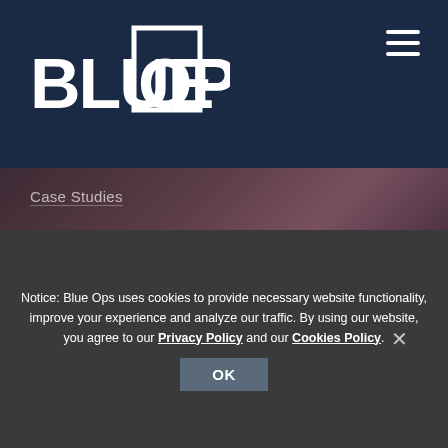[Figure (logo): Blue Ops logo in white on dark navy background]
Case Studies
Careers
Blog
Follow Us
[Figure (infographic): Social media icons: Facebook, LinkedIn, Twitter in white circles]
Notice: Blue Ops uses cookies to provide necessary website functionality, improve your experience and analyze our traffic. By using our website, you agree to our Privacy Policy and our Cookies Policy.
OK